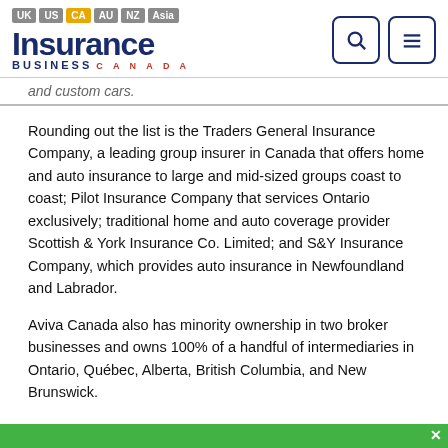UK US CA AU NZ Asia — Insurance Business Canada
and custom cars.
Rounding out the list is the Traders General Insurance Company, a leading group insurer in Canada that offers home and auto insurance to large and mid-sized groups coast to coast; Pilot Insurance Company that services Ontario exclusively; traditional home and auto coverage provider Scottish & York Insurance Co. Limited; and S&Y Insurance Company, which provides auto insurance in Newfoundland and Labrador.
Aviva Canada also has minority ownership in two broker businesses and owns 100% of a handful of intermediaries in Ontario, Québec, Alberta, British Columbia, and New Brunswick.
A focus on community